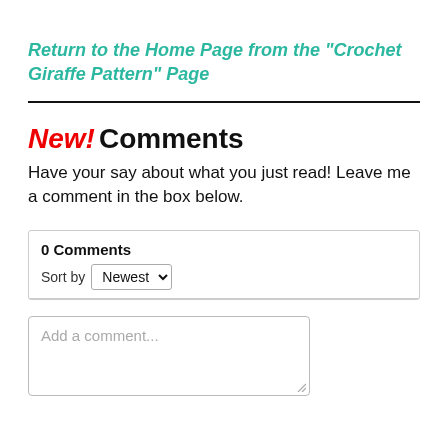Return to the Home Page from the "Crochet Giraffe Pattern" Page
New! Comments
Have your say about what you just read! Leave me a comment in the box below.
0 Comments
Sort by Newest
Add a comment...